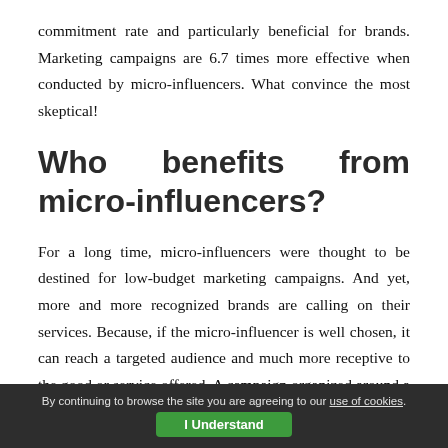commitment rate and particularly beneficial for brands. Marketing campaigns are 6.7 times more effective when conducted by micro-influencers. What convince the most skeptical!
Who benefits from micro-influencers?
For a long time, micro-influencers were thought to be destined for low-budget marketing campaigns. And yet, more and more recognized brands are calling on their services. Because, if the micro-influencer is well chosen, it can reach a targeted audience and much more receptive to the good or service offered. A campaign organized around a macro-influencer will certainly affect many more
By continuing to browse the site you are agreeing to our use of cookies. I Understand